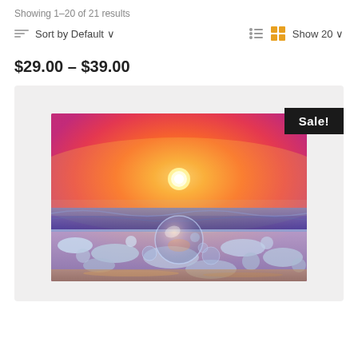Showing 1–20 of 21 results
Sort by Default ∨
Show 20 ∨
$29.00 – $39.00
[Figure (photo): A crystal ball sitting on a beach with sea foam and waves, reflecting a vivid orange and pink sunset sky with the sun low on the horizon.]
Sale!